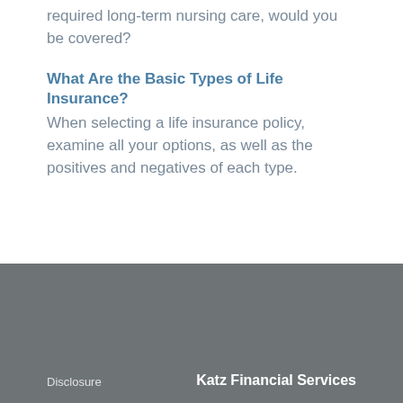required long-term nursing care, would you be covered?
What Are the Basic Types of Life Insurance?
When selecting a life insurance policy, examine all your options, as well as the positives and negatives of each type.
Disclosure   Katz Financial Services